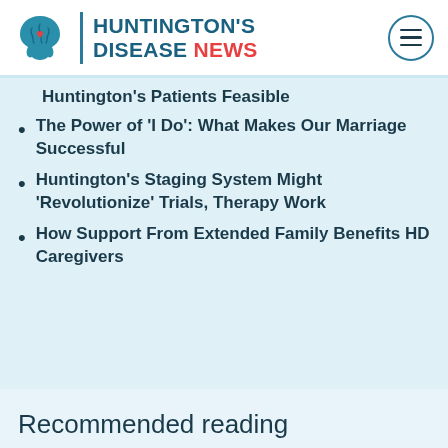HUNTINGTON'S DISEASE NEWS
Huntington's Patients Feasible
The Power of 'I Do': What Makes Our Marriage Successful
Huntington's Staging System Might 'Revolutionize' Trials, Therapy Work
How Support From Extended Family Benefits HD Caregivers
Recommended reading